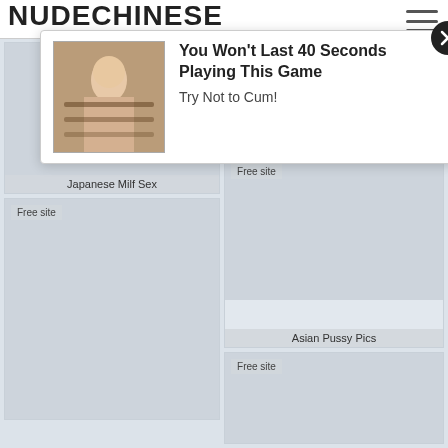NUDECHINESE
[Figure (screenshot): Advertisement popup overlay showing an image on the left and text 'You Won't Last 40 Seconds Playing This Game / Try Not to Cum!' on the right, with a close (X) button]
[Figure (photo): Thumbnail card labeled 'Japanese Milf Sex']
Free site
[Figure (photo): Thumbnail card labeled 'Chinese Milf Nude']
Free site
[Figure (photo): Thumbnail card labeled 'Asian Pussy Pics']
Free site